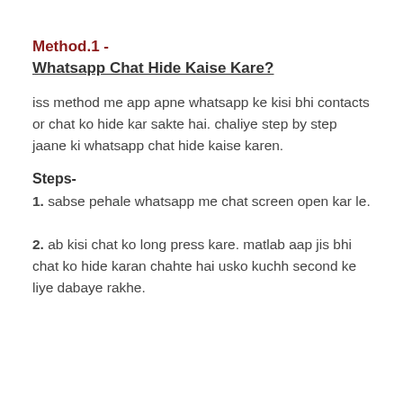Method.1 -
Whatsapp Chat Hide Kaise Kare?
iss method me app apne whatsapp ke kisi bhi contacts or chat ko hide kar sakte hai. chaliye step by step jaane ki whatsapp chat hide kaise karen.
Steps-
1. sabse pehale whatsapp me chat screen open kar le.
2. ab kisi chat ko long press kare. matlab aap jis bhi chat ko hide karan chahte hai usko kuchh second ke liye dabaye rakhe.